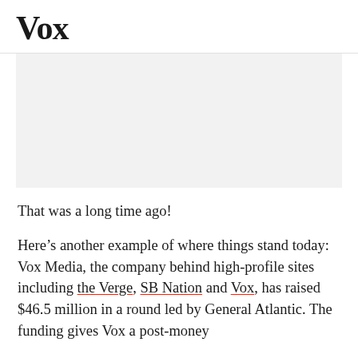Vox
[Figure (other): Gray placeholder image area]
That was a long time ago!
Here’s another example of where things stand today: Vox Media, the company behind high-profile sites including the Verge, SB Nation and Vox, has raised $46.5 million in a round led by General Atlantic. The funding gives Vox a post-money